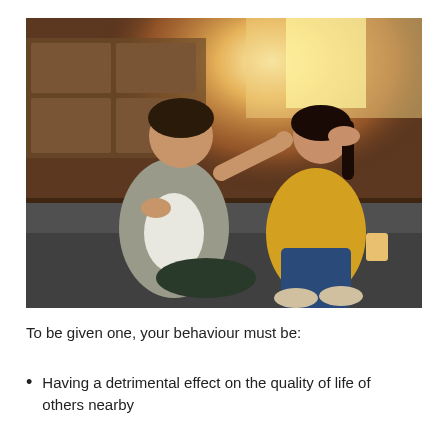[Figure (photo): A man and woman sitting on a couch having an argument. The man is gesturing with one finger raised toward the woman, who is looking away with her hand on her head. Warm interior lighting with a kitchen in the background.]
To be given one, your behaviour must be:
Having a detrimental effect on the quality of life of others nearby